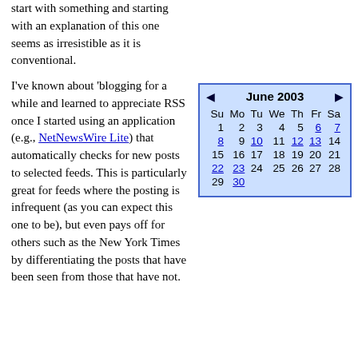start with something and starting with an explanation of this one seems as irresistible as it is conventional.
I've known about 'blogging for a while and learned to appreciate RSS once I started using an application (e.g., NetNewsWire Lite) that automatically checks for new posts to selected feeds. This is particularly great for feeds where the posting is infrequent (as you can expect this one to be), but even pays off for others such as the New York Times by differentiating the posts that have been seen from those that have not.
| Su | Mo | Tu | We | Th | Fr | Sa |
| --- | --- | --- | --- | --- | --- | --- |
| 1 | 2 | 3 | 4 | 5 | 6 | 7 |
| 8 | 9 | 10 | 11 | 12 | 13 | 14 |
| 15 | 16 | 17 | 18 | 19 | 20 | 21 |
| 22 | 23 | 24 | 25 | 26 | 27 | 28 |
| 29 | 30 |  |  |  |  |  |